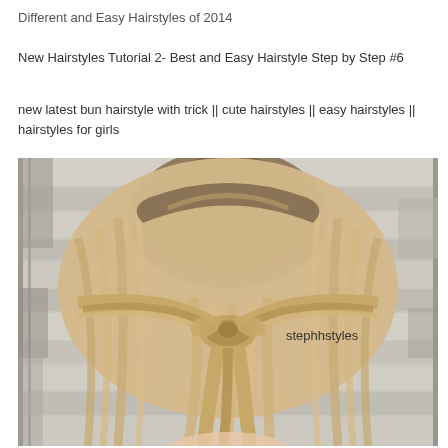Different and Easy Hairstyles of 2014
New Hairstyles Tutorial 2- Best and Easy Hairstyle Step by Step #6
new latest bun hairstyle with trick || cute hairstyles || easy hairstyles || hairstyles for girls
[Figure (photo): Photo showing the back of a person's head with long blonde ombre hair styled in a half-up twisted bun hairstyle. The background is a rustic white-painted wood wall. A watermark reads 'stephhstyles' in the lower right area of the image.]